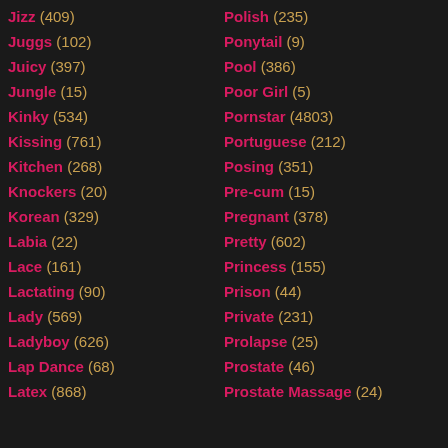Jizz (409)
Juggs (102)
Juicy (397)
Jungle (15)
Kinky (534)
Kissing (761)
Kitchen (268)
Knockers (20)
Korean (329)
Labia (22)
Lace (161)
Lactating (90)
Lady (569)
Ladyboy (626)
Lap Dance (68)
Latex (868)
Polish (235)
Ponytail (9)
Pool (386)
Poor Girl (5)
Pornstar (4803)
Portuguese (212)
Posing (351)
Pre-cum (15)
Pregnant (378)
Pretty (602)
Princess (155)
Prison (44)
Private (231)
Prolapse (25)
Prostate (46)
Prostate Massage (24)